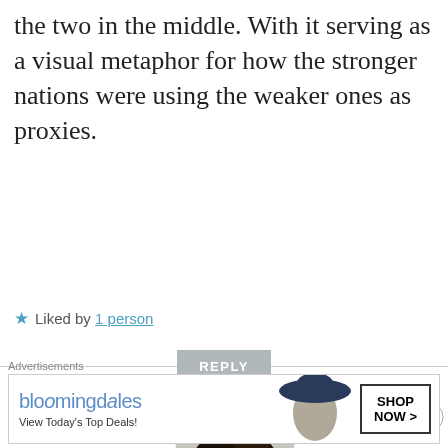the two in the middle. With it serving as a visual metaphor for how the stronger nations were using the weaker ones as proxies.
★ Liked by 1 person
REPLY
[Figure (photo): User avatar for Doomroar, showing a dark animal wearing a top hat]
Doomroar
23 SEPTEMBER, 2019 AT 1:41 AM
Indeed both the official translation
[Figure (infographic): Bloomingdale's advertisement banner: 'bloomingdales – View Today's Top Deals!' with SHOP NOW > button and woman in large hat image]